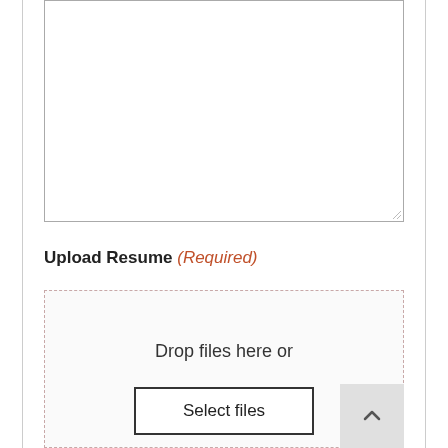[Figure (screenshot): A large empty textarea input box with a resize handle at the bottom right corner.]
Upload Resume (Required)
[Figure (screenshot): A file upload drop zone with dashed border containing the text 'Drop files here or' and a 'Select files' button. A back-to-top arrow button is visible in the bottom right.]